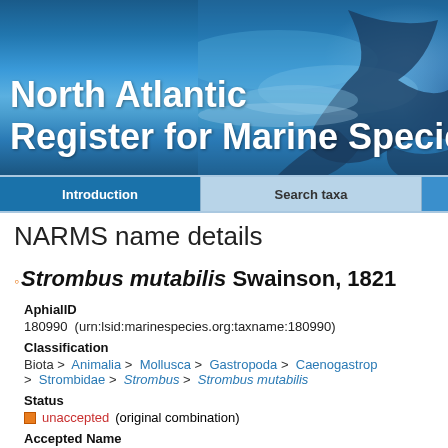[Figure (photo): Header banner with ocean/whale photograph showing North Atlantic Register for Marine Species title in white bold text]
Introduction | Search taxa
NARMS name details
Strombus mutabilis Swainson, 1821
AphialID
180990  (urn:lsid:marinespecies.org:taxname:180990)
Classification
Biota > Animalia > Mollusca > Gastropoda > Caenogastropoda > Strombidae > Strombus > Strombus mutabilis
Status
unaccepted (original combination)
Accepted Name